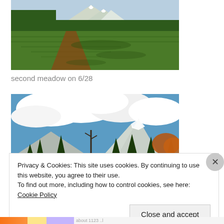[Figure (photo): A mountain meadow with a dirt trail, green grasses, conifer trees, and a snow-capped mountain in the background under a clear sky.]
second meadow on 6/28
[Figure (photo): A mountain scene with blue sky, large white cumulus clouds, snow-capped peaks, and conifer trees with autumn foliage in the foreground.]
Privacy & Cookies: This site uses cookies. By continuing to use this website, you agree to their use.
To find out more, including how to control cookies, see here: Cookie Policy
Close and accept